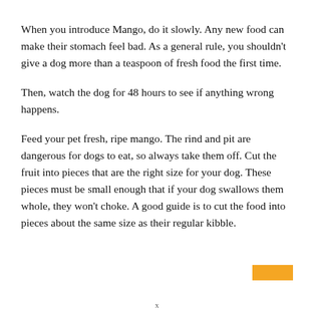When you introduce Mango, do it slowly. Any new food can make their stomach feel bad. As a general rule, you shouldn't give a dog more than a teaspoon of fresh food the first time.
Then, watch the dog for 48 hours to see if anything wrong happens.
Feed your pet fresh, ripe mango. The rind and pit are dangerous for dogs to eat, so always take them off. Cut the fruit into pieces that are the right size for your dog. These pieces must be small enough that if your dog swallows them whole, they won't choke. A good guide is to cut the food into pieces about the same size as their regular kibble.
x